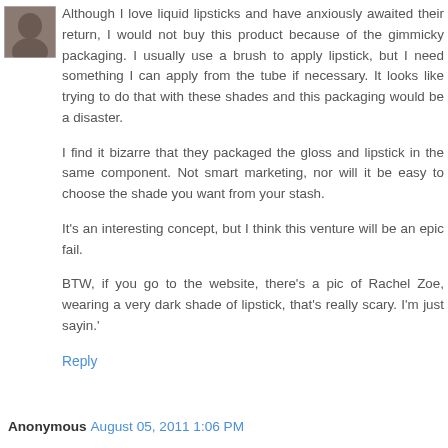[Figure (photo): Small avatar/profile photo thumbnail in top-left corner]
Although I love liquid lipsticks and have anxiously awaited their return, I would not buy this product because of the gimmicky packaging. I usually use a brush to apply lipstick, but I need something I can apply from the tube if necessary. It looks like trying to do that with these shades and this packaging would be a disaster.
I find it bizarre that they packaged the gloss and lipstick in the same component. Not smart marketing, nor will it be easy to choose the shade you want from your stash.
It's an interesting concept, but I think this venture will be an epic fail.
BTW, if you go to the website, there's a pic of Rachel Zoe, wearing a very dark shade of lipstick, that's really scary. I'm just sayin.'
Reply
Anonymous August 05, 2011 1:06 PM